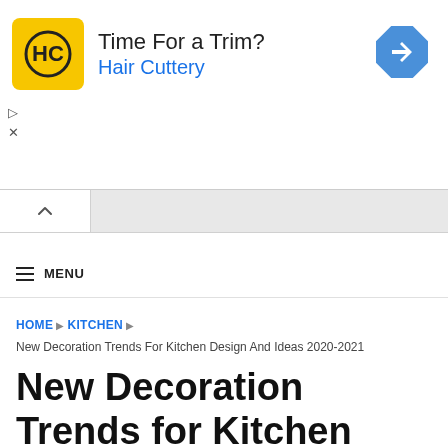[Figure (other): Hair Cuttery advertisement banner with yellow HC logo, text 'Time For a Trim?' and 'Hair Cuttery' in blue, and a blue diamond navigation arrow icon]
≡ MENU
HOME ▶ KITCHEN ▶
New Decoration Trends For Kitchen Design And Ideas 2020-2021
New Decoration Trends for Kitchen Design And Ideas 2020-2021